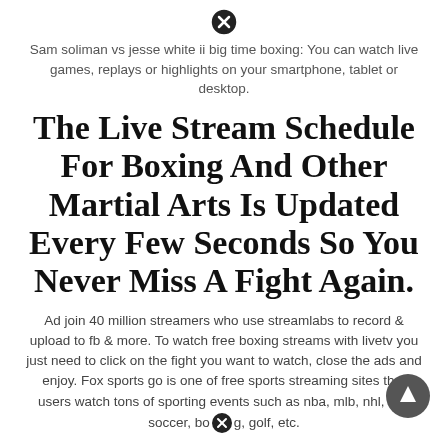[Figure (other): Close/dismiss icon (circled X) at top center]
Sam soliman vs jesse white ii big time boxing: You can watch live games, replays or highlights on your smartphone, tablet or desktop.
The Live Stream Schedule For Boxing And Other Martial Arts Is Updated Every Few Seconds So You Never Miss A Fight Again.
Ad join 40 million streamers who use streamlabs to record & upload to fb & more. To watch free boxing streams with livetv you just need to click on the fight you want to watch, close the ads and enjoy. Fox sports go is one of free sports streaming sites that users watch tons of sporting events such as nba, mlb, nhl, ufc, soccer, boxing, golf, etc.
[Figure (other): Scroll-to-top button (circle with upward arrow) at bottom right]
[Figure (other): Close/dismiss icon (circled X) near bottom center, inline with text]